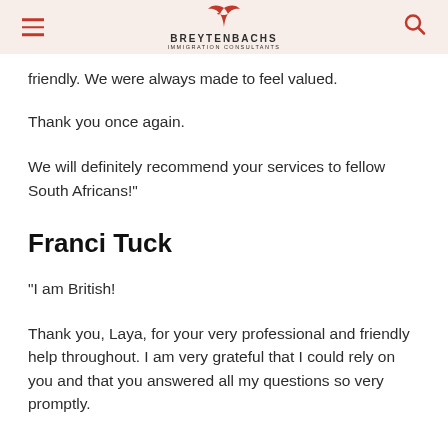BREYTENBACHS IMMIGRATION CONSULTANTS
friendly. We were always made to feel valued.
Thank you once again.
We will definitely recommend your services to fellow South Africans!"
Franci Tuck
"I am British!
Thank you, Laya, for your very professional and friendly help throughout. I am very grateful that I could rely on you and that you answered all my questions so very promptly.